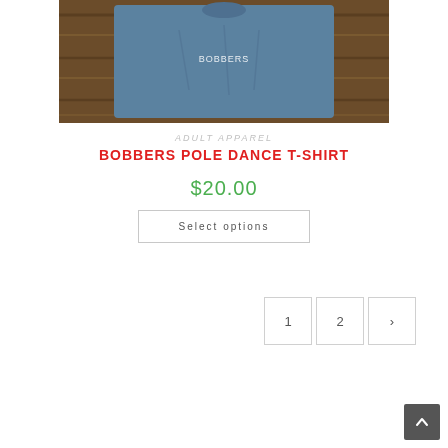[Figure (photo): A blue t-shirt laid flat on a wooden surface, photographed from above. The shirt has white text/graphic on the chest area.]
ADULT APPAREL
BOBBERS POLE DANCE T-SHIRT
$20.00
Select options
1
2
›